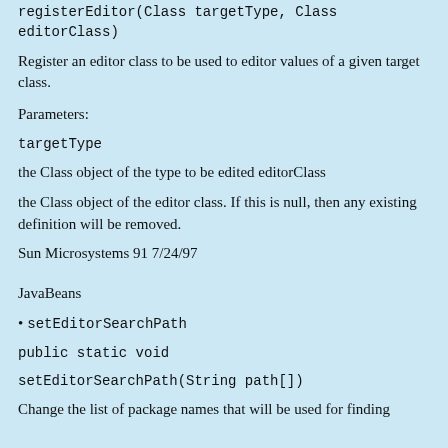registerEditor(Class targetType, Class editorClass)
Register an editor class to be used to editor values of a given target class.
Parameters:
targetType
the Class object of the type to be edited editorClass
the Class object of the editor class. If this is null, then any existing definition will be removed.
Sun Microsystems 91 7/24/97
JavaBeans
setEditorSearchPath
public static void
setEditorSearchPath(String path[])
Change the list of package names that will be used for finding